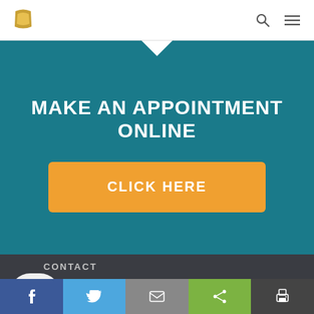Navigation bar with logo and menu icons
MAKE AN APPOINTMENT ONLINE
CLICK HERE
CONTACT
Social share bar: Facebook, Twitter, Email, Share, Print